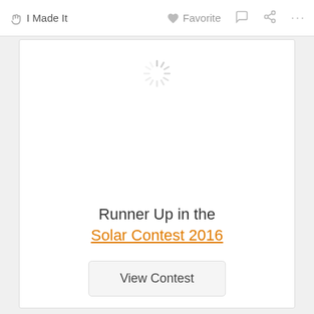✋ I Made It   ♥ Favorite  💬  ↗  ...
[Figure (other): Loading spinner icon (circular dashed lines) indicating content is loading]
Runner Up in the
Solar Contest 2016
View Contest